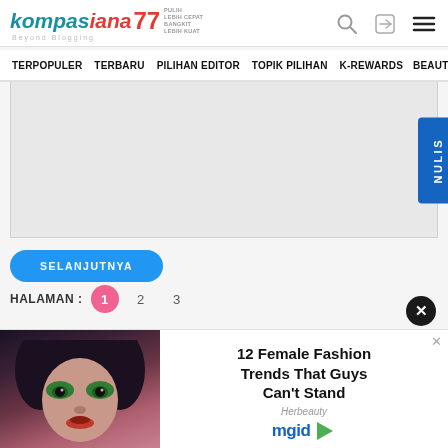[Figure (logo): Kompasiana Beyond Blogging logo with 77 emblem and navigation icons]
TERPOPULER  TERBARU  PILIHAN EDITOR  TOPIK PILIHAN  K-REWARDS  BEAUTY
[Figure (other): Gray advertisement placeholder box]
SELANJUTNYA
HALAMAN :  1  2  3
[Figure (photo): Woman with dramatic green eyeshadow makeup ad for '12 Female Fashion Trends That Guys Can't Stand' via Herbeauty/mgid]